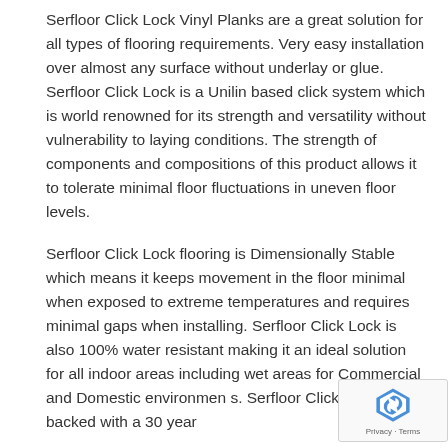Serfloor Click Lock Vinyl Planks are a great solution for all types of flooring requirements. Very easy installation over almost any surface without underlay or glue. Serfloor Click Lock is a Unilin based click system which is world renowned for its strength and versatility without vulnerability to laying conditions. The strength of components and compositions of this product allows it to tolerate minimal floor fluctuations in uneven floor levels.
Serfloor Click Lock flooring is Dimensionally Stable which means it keeps movement in the floor minimal when exposed to extreme temperatures and requires minimal gaps when installing. Serfloor Click Lock is also 100% water resistant making it an ideal solution for all indoor areas including wet areas for Commercial and Domestic environments. Serfloor Click Lock is backed with a 30 year
[Figure (other): reCAPTCHA badge with logo and Privacy - Terms text]